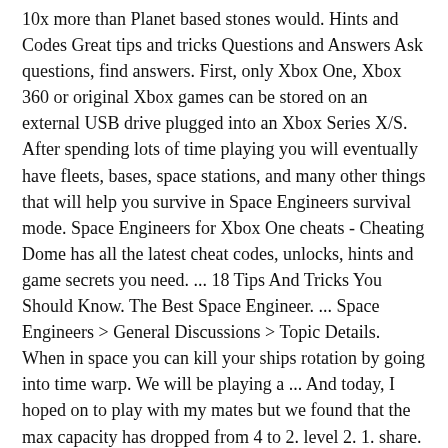10x more than Planet based stones would. Hints and Codes Great tips and tricks Questions and Answers Ask questions, find answers. First, only Xbox One, Xbox 360 or original Xbox games can be stored on an external USB drive plugged into an Xbox Series X/S. After spending lots of time playing you will eventually have fleets, bases, space stations, and many other things that will help you survive in Space Engineers survival mode. Space Engineers for Xbox One cheats - Cheating Dome has all the latest cheat codes, unlocks, hints and game secrets you need. ... 18 Tips And Tricks You Should Know. The Best Space Engineer. ... Space Engineers > General Discussions > Topic Details. When in space you can kill your ships rotation by going into time warp. We will be playing a ... And today, I hoped on to play with my mates but we found that the max capacity has dropped from 4 to 2. level 2. 1. share. The Elder Scrolls V: Skyrim tips and tricks By Joseph Yaden November 27, 2020 Adventuring into the wilds of The Elder Scrolls V: Skyrim can be a dangerous, daunting undertaking. Finally, after 5 years and more than 4 million sold copies, the waiting is over! Survival,